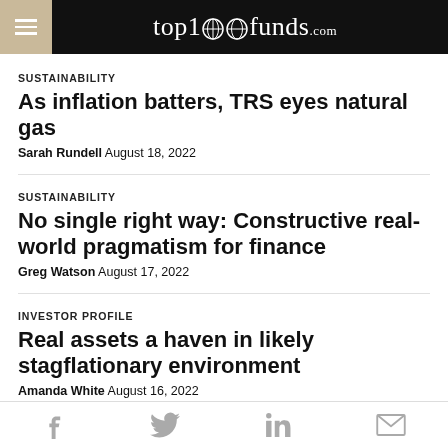top1000funds.com
SUSTAINABILITY
As inflation batters, TRS eyes natural gas
Sarah Rundell August 18, 2022
SUSTAINABILITY
No single right way: Constructive real-world pragmatism for finance
Greg Watson August 17, 2022
INVESTOR PROFILE
Real assets a haven in likely stagflationary environment
Amanda White August 16, 2022
Social share icons: Facebook, Twitter, LinkedIn, Email